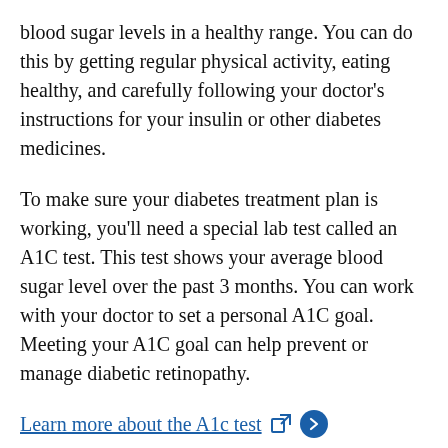blood sugar levels in a healthy range. You can do this by getting regular physical activity, eating healthy, and carefully following your doctor's instructions for your insulin or other diabetes medicines.
To make sure your diabetes treatment plan is working, you'll need a special lab test called an A1C test. This test shows your average blood sugar level over the past 3 months. You can work with your doctor to set a personal A1C goal. Meeting your A1C goal can help prevent or manage diabetic retinopathy.
Learn more about the A1c test [external link icon] [arrow button]
Having high blood pressure or high cholesterol along with diabetes increases your risk for diabetic